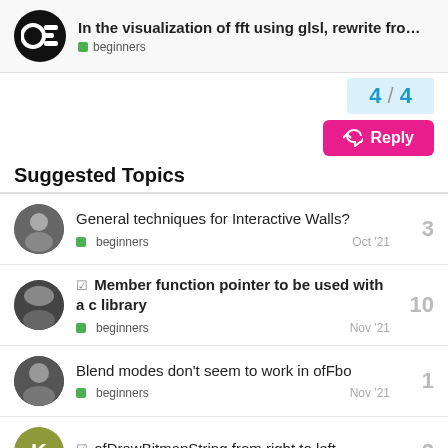In the visualization of fft using glsl, rewrite fro... | beginners
4 / 4
Reply
Suggested Topics
General techniques for Interactive Walls? | beginners | Oct '21 | 3
✓ Member function pointer to be used with a c library | beginners | Nov '21 | 10
Blend modes don't seem to work in ofFbo | beginners | Nov '21 | 1
✓ ofDrawBitmapString from right to left | 2